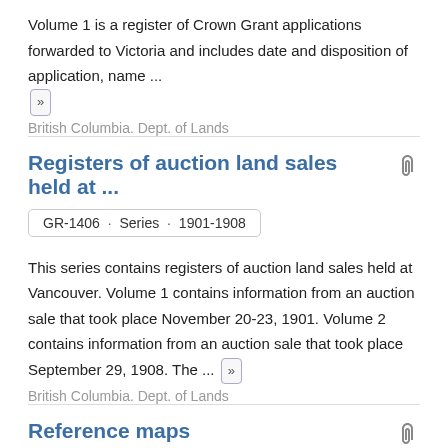Volume 1 is a register of Crown Grant applications forwarded to Victoria and includes date and disposition of application, name ...
British Columbia. Dept. of Lands
Registers of auction land sales held at ...
GR-1406 · Series · 1901-1908
This series contains registers of auction land sales held at Vancouver. Volume 1 contains information from an auction sale that took place November 20-23, 1901. Volume 2 contains information from an auction sale that took place September 29, 1908. The ...
British Columbia. Dept. of Lands
Reference maps
GR-3813 · Series · 1932-1995
The series contains a collection of maps used as reference in